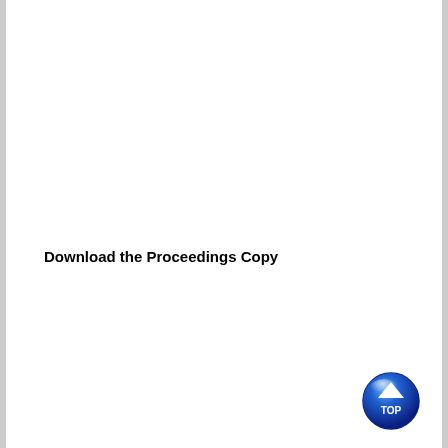Download the Proceedings Copy
[Figure (illustration): Blue circular button with upward-pointing triangle arrow and 'TOP' text label, used as a navigation element to scroll back to the top of the page]